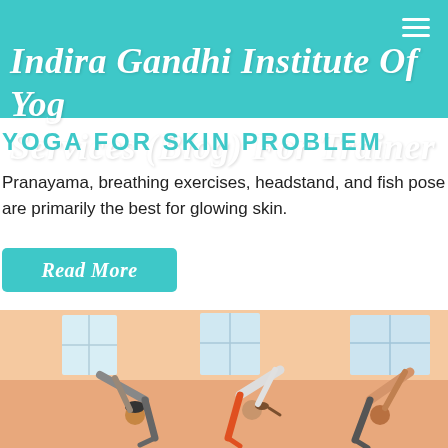Indira Gandhi Institute Of Yog Services (Blog) For Trainer
YOGA FOR SKIN PROBLEM
Pranayama, breathing exercises, headstand, and fish pose are primarily the best for glowing skin.
Read More
[Figure (photo): Three people performing a side stretch yoga pose in a studio with large windows and warm lighting.]